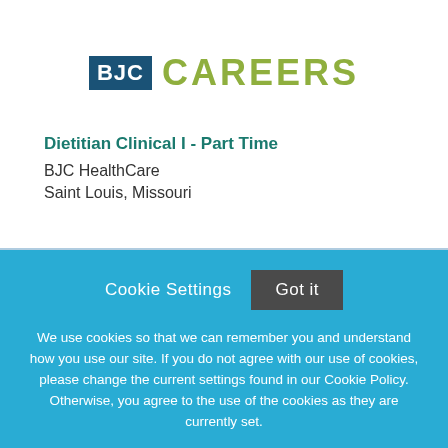[Figure (logo): BJC Careers logo with blue BJC box and olive/green CAREERS text]
Dietitian Clinical I - Part Time
BJC HealthCare
Saint Louis, Missouri
Cookie Settings  Got it
We use cookies so that we can remember you and understand how you use our site. If you do not agree with our use of cookies, please change the current settings found in our Cookie Policy. Otherwise, you agree to the use of the cookies as they are currently set.